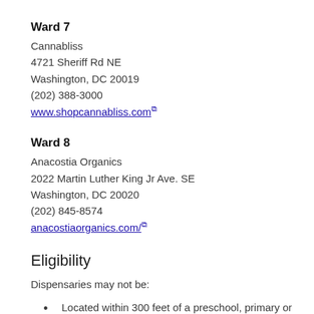Ward 7
Cannabliss
4721 Sheriff Rd NE
Washington, DC 20019
(202) 388-3000
www.shopcannabliss.com
Ward 8
Anacostia Organics
2022 Martin Luther King Jr Ave. SE
Washington, DC 20020
(202) 845-8574
anacostiaorganics.com/
Eligibility
Dispensaries may not be:
Located within 300 feet of a preschool, primary or secondary school or recreation center
Co-located with any other type of business